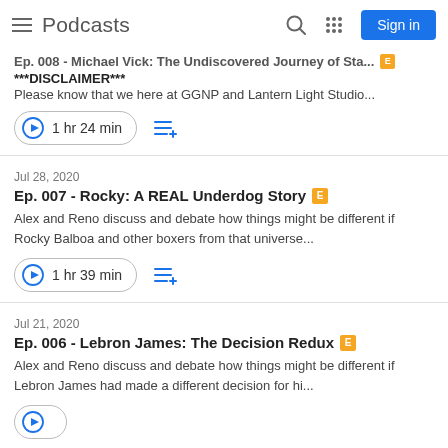Podcasts
Ep. 008 - Michael Vick: The Undiscovered Journey of Sta... ***DISCLAIMER*** Please know that we here at GGNP and Lantern Light Studio...
1 hr 24 min
Jul 28, 2020
Ep. 007 - Rocky: A REAL Underdog Story [E]
Alex and Reno discuss and debate how things might be different if Rocky Balboa and other boxers from that universe...
1 hr 39 min
Jul 21, 2020
Ep. 006 - Lebron James: The Decision Redux [E]
Alex and Reno discuss and debate how things might be different if Lebron James had made a different decision for hi...